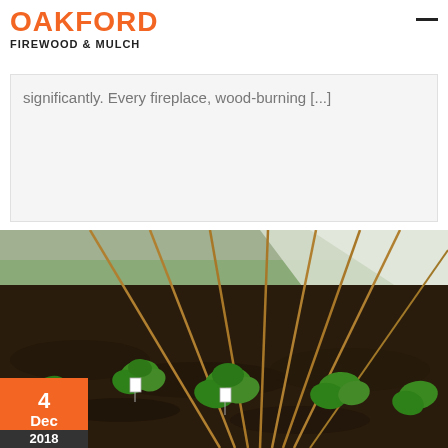OAKFORD FIREWOOD & MULCH
significantly. Every fireplace, wood-burning [...]
[Figure (photo): Garden photo showing green seedling plants growing in dark soil with bamboo cane stakes arranged in a fan/teepee pattern. A white plastic sheet or greenhouse covering is visible in the background. Small white plant labels are visible near some seedlings. An orange and dark date badge in the lower left shows '4 Dec 2018'.]